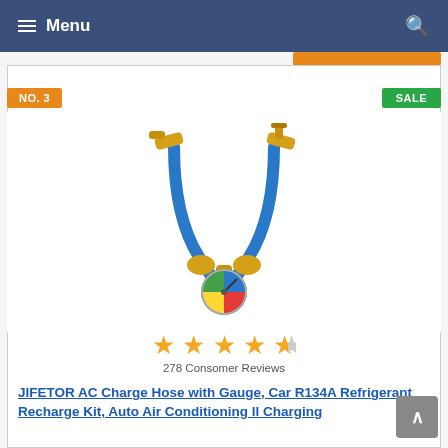Menu
NO. 3
SALE
[Figure (photo): AC charge hose with gauge product photo — blue U-shaped hose with gold/brass fittings on each end and a colorful pressure gauge at the bottom center]
278 Consomer Reviews
JIFETOR AC Charge Hose with Gauge, Car R134A Refrigerant Recharge Kit, Auto Air Conditioning ll Charging